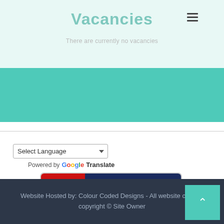Vacancies
There are currently no vacancies
[Figure (screenshot): Teal/turquoise banner strip below the header]
[Figure (screenshot): Select Language dropdown with Google Translate branding]
[Figure (logo): Click CEOP Internet Safety badge - red and dark blue button]
[Figure (logo): KLZ Portal green button with user icon]
Website Hosted by: Colour Coded Designs - All website content copyright © Site Owner